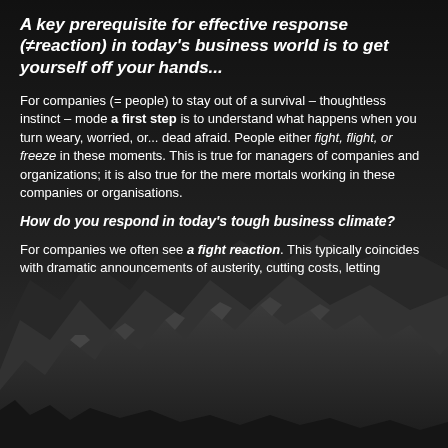[Figure (photo): Black and white photograph of a dramatic mountain range with jagged peaks and rocky terrain, used as background.]
A key prerequisite for effective response (≠reaction) in today's business world is to get yourself off your hands...
For companies (= people) to stay out of a survival – thoughtless instinct – mode a first step is to understand what happens when you turn weary, worried, or... dead afraid. People either fight, flight, or freeze in these moments. This is true for managers of companies and organizations; it is also true for the mere mortals working in these companies or organisations.
How do you respond in today's tough business climate?
For companies we often see a fight reaction. This typically coincides with dramatic announcements of austerity, cutting costs, letting